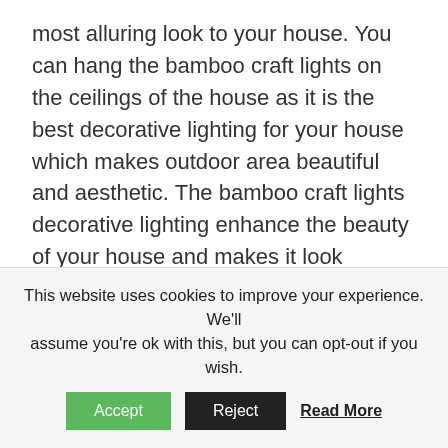most alluring look to your house. You can hang the bamboo craft lights on the ceilings of the house as it is the best decorative lighting for your house which makes outdoor area beautiful and aesthetic. The bamboo craft lights decorative lighting enhance the beauty of your house and makes it look captivating.
Bamboo Craft Crockery:
The bamboo craft crockery looks very cool and classy in the kitchen. Instead of buying the
This website uses cookies to improve your experience. We'll assume you're ok with this, but you can opt-out if you wish.